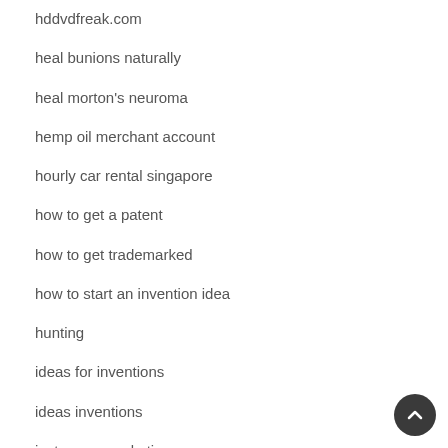hddvdfreak.com
heal bunions naturally
heal morton's neuroma
hemp oil merchant account
hourly car rental singapore
how to get a patent
how to get trademarked
how to start an invention idea
hunting
ideas for inventions
ideas inventions
instagram marketing
Invent Help tech